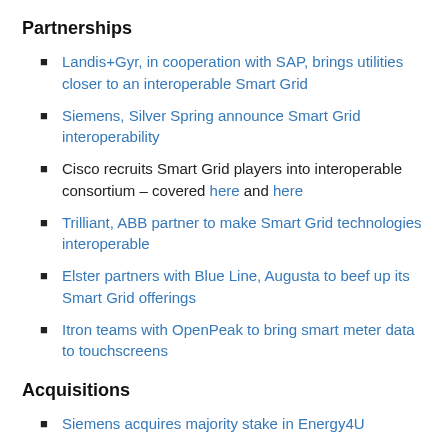Partnerships
Landis+Gyr, in cooperation with SAP, brings utilities closer to an interoperable Smart Grid
Siemens, Silver Spring announce Smart Grid interoperability
Cisco recruits Smart Grid players into interoperable consortium – covered here and here
Trilliant, ABB partner to make Smart Grid technologies interoperable
Elster partners with Blue Line, Augusta to beef up its Smart Grid offerings
Itron teams with OpenPeak to bring smart meter data to touchscreens
Acquisitions
Siemens acquires majority stake in Energy4U